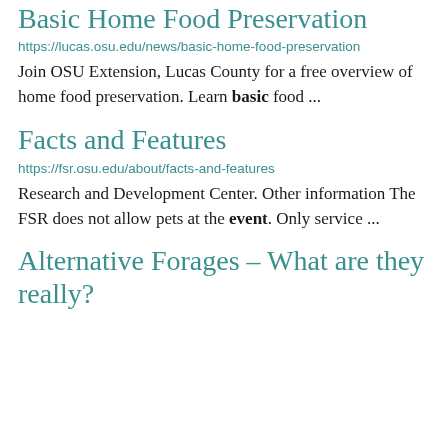Basic Home Food Preservation
https://lucas.osu.edu/news/basic-home-food-preservation
Join OSU Extension, Lucas County for a free overview of home food preservation. Learn basic food ...
Facts and Features
https://fsr.osu.edu/about/facts-and-features
Research and Development Center. Other information The FSR does not allow pets at the event. Only service ...
Alternative Forages – What are they really?